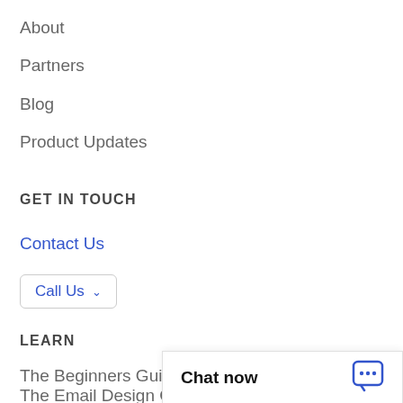About
Partners
Blog
Product Updates
GET IN TOUCH
Contact Us
Call Us
LEARN
The Beginners Guide to Email Marketing
The Email Design Guide
Choosing Email Marketing
Chat now